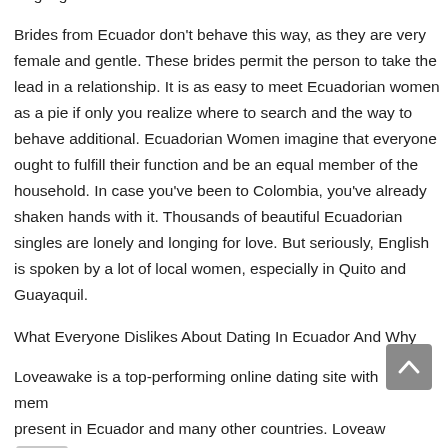single girls.
Brides from Ecuador don't behave this way, as they are very female and gentle. These brides permit the person to take the lead in a relationship. It is as easy to meet Ecuadorian women as a pie if only you realize where to search and the way to behave additional. Ecuadorian Women imagine that everyone ought to fulfill their function and be an equal member of the household. In case you've been to Colombia, you've already shaken hands with it. Thousands of beautiful Ecuadorian singles are lonely and longing for love. But seriously, English is spoken by a lot of local women, especially in Quito and Guayaquil.
What Everyone Dislikes About Dating In Ecuador And Why
Loveawake is a top-performing online dating site with members present in Ecuador and many other countries. Loveawake has over a million registered singles and over 1000 new men and women are joining daily. With all these statistics you are almost